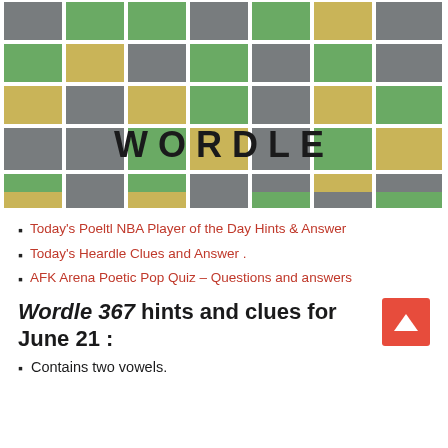[Figure (illustration): Wordle game logo graphic showing a 7-column grid of colored tiles (green, yellow, gray) with the word WORDLE displayed in large bold letters across the middle row on alternating colored tiles.]
Today's Poeltl NBA Player of the Day Hints & Answer
Today's Heardle Clues and Answer .
AFK Arena Poetic Pop Quiz – Questions and answers
Wordle 367 hints and clues for June 21 :
Contains two vowels.